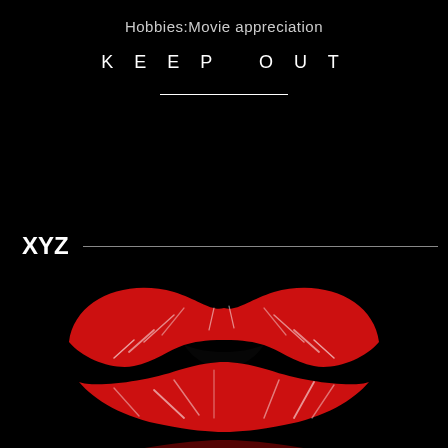Hobbies:Movie appreciation
KEEP OUT
XYZ
[Figure (illustration): Red lipstick kiss mark (lips imprint) with reflection, on black background. Upper lip and lower lip visible in bold red with white highlights/streaks, with a mirrored/reflection image below.]